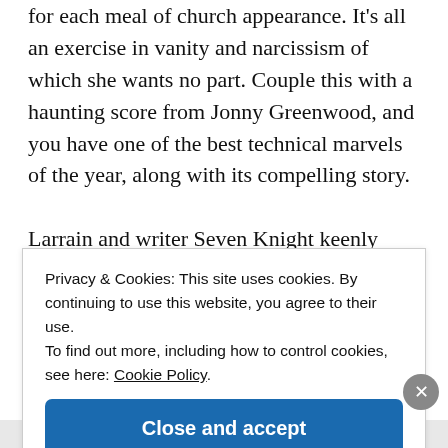for each meal of church appearance. It's all an exercise in vanity and narcissism of which she wants no part. Couple this with a haunting score from Jonny Greenwood, and you have one of the best technical marvels of the year, along with its compelling story.

Larrain and writer Seven Knight keenly compare Diana to Anne Boleyn (portrayed in vision form by Amy Manson). Anne was the second wife of Henry VIII, who
Privacy & Cookies: This site uses cookies. By continuing to use this website, you agree to their use.
To find out more, including how to control cookies, see here: Cookie Policy
Close and accept